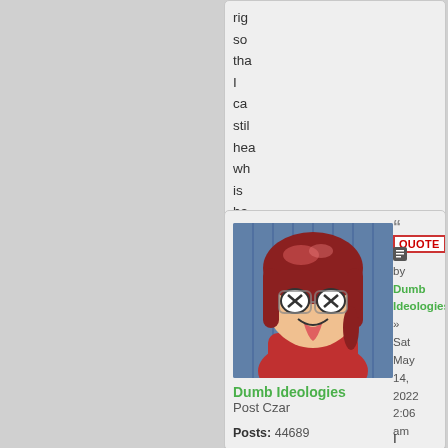rig so tha I ca stil hea wh is ha to my su
[Figure (illustration): Anime-style cartoon avatar of a girl with red/brown hair, making a silly face with tongue out, wearing a red outfit, drawn in manga style]
Dumb Ideologies
Post Czar

Posts: 44689
Founded: Sep 30, 2007
Mother Knows Best State
QUOTE
by Dumb Ideologies » Sat May 14, 2022 2:06 am

I